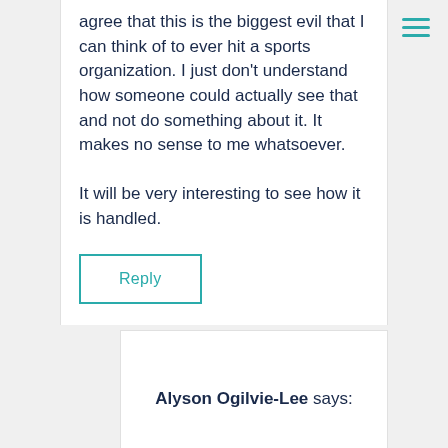agree that this is the biggest evil that I can think of to ever hit a sports organization. I just don't understand how someone could actually see that and not do something about it. It makes no sense to me whatsoever.

It will be very interesting to see how it is handled.
Reply
Alyson Ogilvie-Lee says: